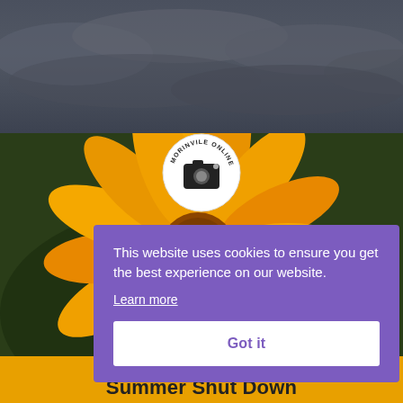[Figure (photo): Dark cloudy sky photograph, gray storm clouds]
[Figure (photo): Close-up of an orange/yellow sunflower with dark green background and a circular Morinvile Online camera logo watermark in center]
This website uses cookies to ensure you get the best experience on our website.
Learn more
Got it
Summer Shut Down